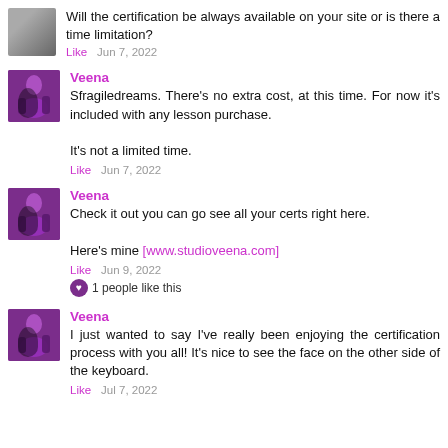Will the certification be always available on your site or is there a time limitation?
Like   Jun 7, 2022
Veena
Sfragiledreams. There's no extra cost, at this time. For now it's included with any lesson purchase.

It's not a limited time.
Like   Jun 7, 2022
Veena
Check it out you can go see all your certs right here.

Here's mine [www.studioveena.com]
Like   Jun 9, 2022
1 people like this
Veena
I just wanted to say I've really been enjoying the certification process with you all! It's nice to see the face on the other side of the keyboard.
Like   Jul 7, 2022